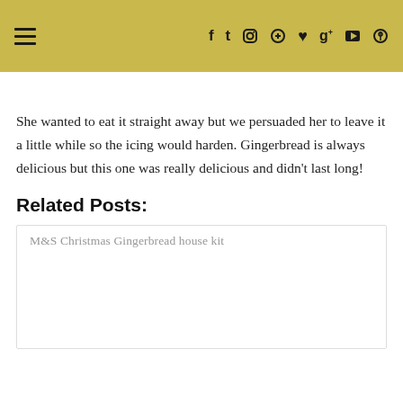Navigation header with hamburger menu and social icons (Facebook, Twitter, Instagram, Pinterest, Heart, Google+, YouTube, Search)
She wanted to eat it straight away but we persuaded her to leave it a little while so the icing would harden. Gingerbread is always delicious but this one was really delicious and didn't last long!
Related Posts:
M&S Christmas Gingerbread house kit